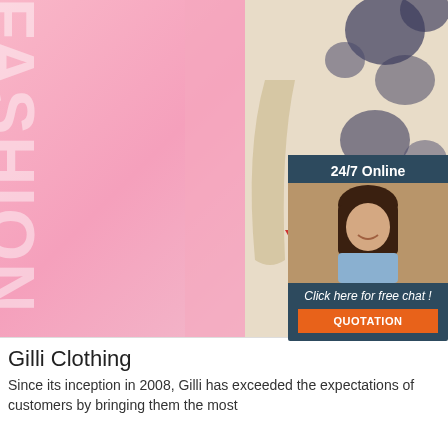[Figure (photo): Fashion advertisement image showing a mannequin wearing a cream/beige dress with dark floral print pattern. Pink gradient background on left with 'FASHION' and 'NATION SHOW' watermark text in white. A red stylized V logo with 'ILFOUR' text is overlaid. In the top right corner, a dark blue chat widget shows '24/7 Online', a photo of a female customer service agent with headset, 'Click here for free chat !' text, and an orange 'QUOTATION' button. A 'TOP' badge with orange dots appears bottom right.]
Gilli Clothing
Since its inception in 2008, Gilli has exceeded the expectations of customers by bringing them the most